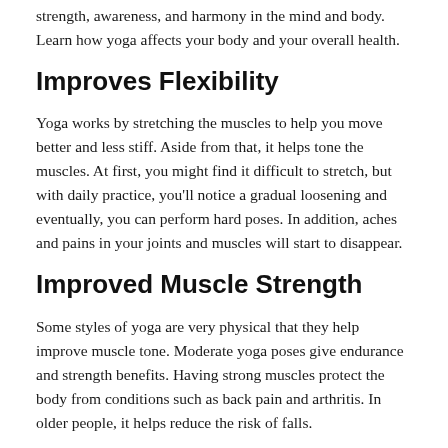strength, awareness, and harmony in the mind and body. Learn how yoga affects your body and your overall health.
Improves Flexibility
Yoga works by stretching the muscles to help you move better and less stiff. Aside from that, it helps tone the muscles. At first, you might find it difficult to stretch, but with daily practice, you'll notice a gradual loosening and eventually, you can perform hard poses. In addition, aches and pains in your joints and muscles will start to disappear.
Improved Muscle Strength
Some styles of yoga are very physical that they help improve muscle tone. Moderate yoga poses give endurance and strength benefits. Having strong muscles protect the body from conditions such as back pain and arthritis. In older people, it helps reduce the risk of falls.